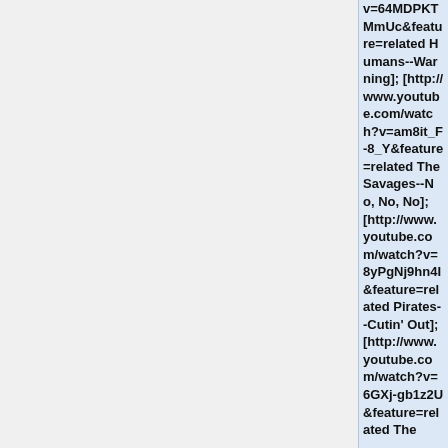v=64MDPKTMmUc&feature=related Humans--Warning]; [http://www.youtube.com/watch?v=am8it_F-8_Y&feature=related The Savages--No, No, No]; [http://www.youtube.com/watch?v=8yPgNj9hn4I&feature=related Pirates--Cutin' Out]; [http://www.youtube.com/watch?v=6GXj-gb1z2U&feature=related The